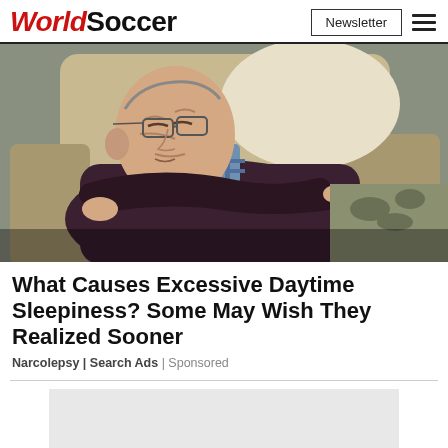WorldSoccer | Newsletter
[Figure (photo): Elderly man sleeping in an armchair with arms crossed, wearing a dark sweater and plaid shirt, head tilted to the side, glasses on.]
What Causes Excessive Daytime Sleepiness? Some May Wish They Realized Sooner
Narcolepsy | Search Ads | Sponsored
[Figure (other): Gray advertisement placeholder box]